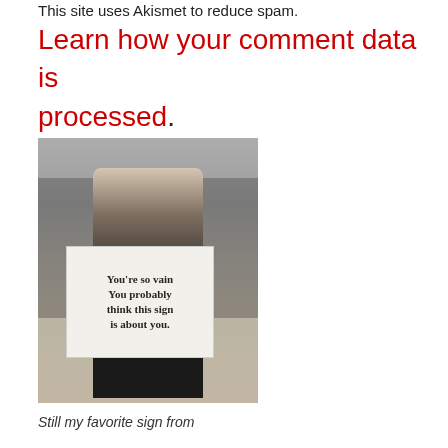This site uses Akismet to reduce spam. Learn how your comment data is processed.
[Figure (photo): A woman at a protest/march holding a white sign that reads 'You're so vain You probably think this sign is about you.' She is wearing sunglasses and has long ombre hair. There are other people and buildings visible in the background.]
Still my favorite sign from